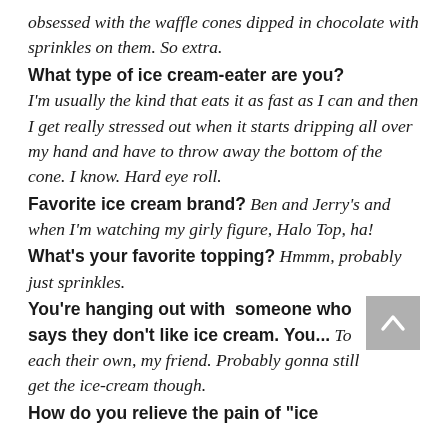obsessed with the waffle cones dipped in chocolate with sprinkles on them. So extra.
What type of ice cream-eater are you? I'm usually the kind that eats it as fast as I can and then I get really stressed out when it starts dripping all over my hand and have to throw away the bottom of the cone. I know. Hard eye roll.
Favorite ice cream brand? Ben and Jerry's and when I'm watching my girly figure, Halo Top, ha!
What's your favorite topping? Hmmm, probably just sprinkles.
You're hanging out with someone who says they don't like ice cream. You... To each their own, my friend. Probably gonna still get the ice-cream though.
How do you relieve the pain of "ice